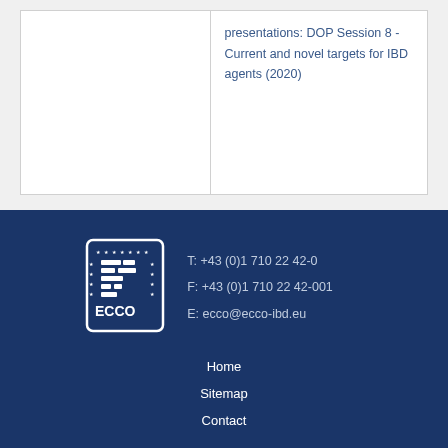presentations: DOP Session 8 - Current and novel targets for IBD agents (2020)
[Figure (logo): ECCO logo — white icon with rectangles and stars on dark blue background, with text ECCO below]
T: +43 (0)1 710 22 42-0
F: +43 (0)1 710 22 42-001
E: ecco@ecco-ibd.eu
Home
Sitemap
Contact